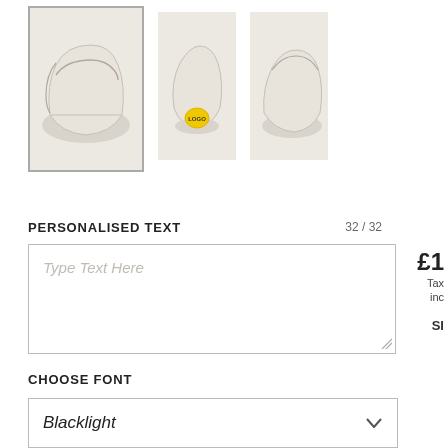[Figure (photo): Three product photos of white ankle socks showing different angles: side view with border/logo, heel view with yellow label, and front/side view.]
£1
Tax included
SI
PERSONALISED TEXT
32 / 32
Type Text Here
CHOOSE FONT
Blacklight
CHOOSE FONT COLOUR